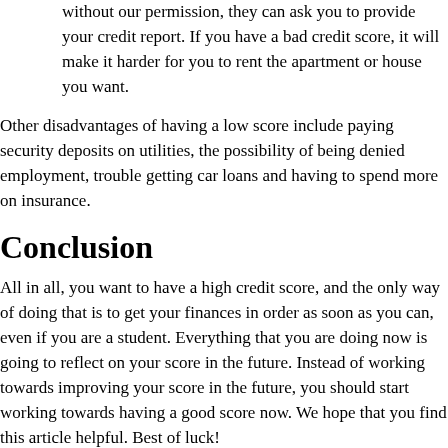without our permission, they can ask you to provide your credit report. If you have a bad credit score, it will make it harder for you to rent the apartment or house you want.
Other disadvantages of having a low score include paying security deposits on utilities, the possibility of being denied employment, trouble getting car loans and having to spend more on insurance.
Conclusion
All in all, you want to have a high credit score, and the only way of doing that is to get your finances in order as soon as you can, even if you are a student. Everything that you are doing now is going to reflect on your score in the future. Instead of working towards improving your score in the future, you should start working towards having a good score now. We hope that you find this article helpful. Best of luck!